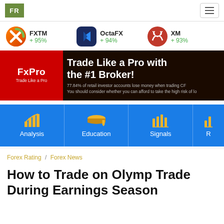FR [logo] | hamburger menu
[Figure (infographic): Three broker items: FXTM +95%, OctaFX +94%, XM +93% with their respective logos]
[Figure (infographic): FxPro advertisement banner: 'Trade Like a Pro with the #1 Broker!' with disclaimer text about 77.84% of retail investor accounts losing money]
[Figure (infographic): Navigation bar with Analysis, Education, Signals, R... categories on blue background with gold icons]
Forex Rating / Forex News
How to Trade on Olymp Trade During Earnings Season